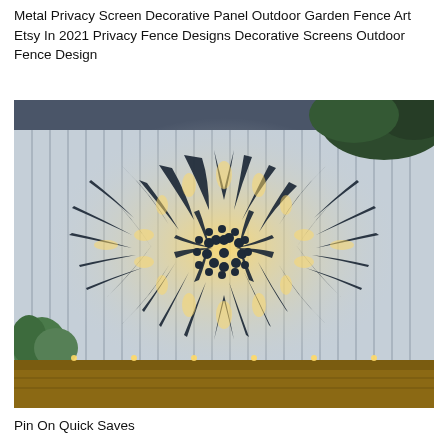Metal Privacy Screen Decorative Panel Outdoor Garden Fence Art Etsy In 2021 Privacy Fence Designs Decorative Screens Outdoor Fence Design
[Figure (photo): A large decorative metal privacy screen panel mounted on a light-colored vertical slat fence, photographed at dusk/night. The panel features an intricate sunflower/starburst cutout design with radiating petal-like strips and a circular dot pattern center, backlit by warm yellow/golden lights behind the fence, creating a glowing effect through the cutouts. A green plant is visible in the lower left corner, and a wooden deck/bench is at the bottom.]
Pin On Quick Saves